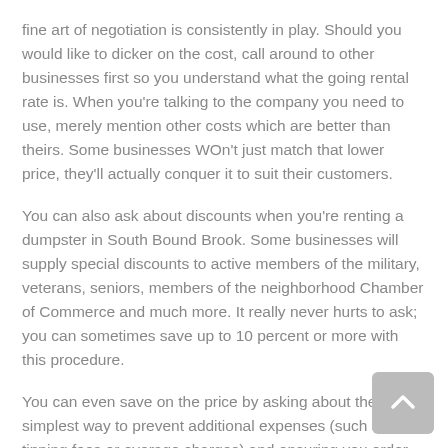fine art of negotiation is consistently in play. Should you would like to dicker on the cost, call around to other businesses first so you understand what the going rental rate is. When you're talking to the company you need to use, merely mention other costs which are better than theirs. Some businesses WOn't just match that lower price, they'll actually conquer it to suit their customers.
You can also ask about discounts when you're renting a dumpster in South Bound Brook. Some businesses will supply special discounts to active members of the military, veterans, seniors, members of the neighborhood Chamber of Commerce and much more. It really never hurts to ask; you can sometimes save up to 10 percent or more with this procedure.
You can even save on the price by asking about the simplest way to prevent additional expenses (such as tipping fees or overage charges) and ensuring you order the right size container; you do not want to pay for more container than you actually need.